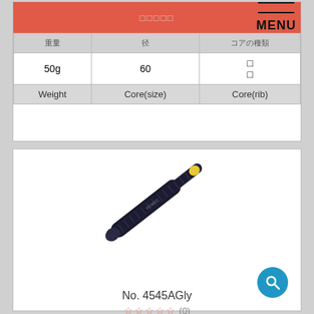| 重量 | 径 | コアの種類 |
| --- | --- | --- |
| 50g | 60 | □
□ |
| Weight | Core(size) | Core(rib) |
[Figure (photo): Golf grip product photo — a black golf club grip with yellow tip, shown diagonally. Brand marking visible near bottom end.]
No. 4545AGly
☆☆☆☆☆ (0)